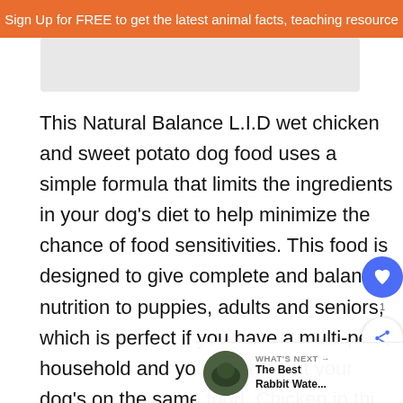Sign Up for FREE to get the latest animal facts, teaching resource
[Figure (photo): Placeholder image area, light grey rectangle]
This Natural Balance L.I.D wet chicken and sweet potato dog food uses a simple formula that limits the ingredients in your dog's diet to help minimize the chance of food sensitivities. This food is designed to give complete and balanced nutrition to puppies, adults and seniors, which is perfect if you have a multi-pet household and you want to put your dog's on the same food. Chicken in this dog food is high in protein for strong and muscles and, with sweet potatoes another prominent ingredient, this food is highly digestible